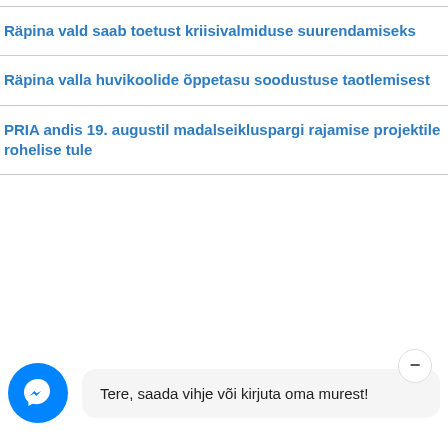Räpina vald saab toetust kriisivalmiduse suurendamiseks
Räpina valla huvikoolide õppetasu soodustuse taotlemisest
PRIA andis 19. augustil madalseikluspargi rajamise projektile rohelise tule
Tere, saada vihje või kirjuta oma murest!